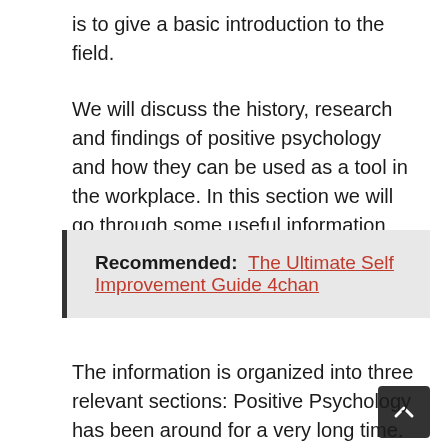is to give a basic introduction to the field.
We will discuss the history, research and findings of positive psychology and how they can be used as a tool in the workplace. In this section we will go through some useful information from some famous researchers.
Recommended: The Ultimate Self Improvement Guide 4chan
The information is organized into three relevant sections: Positive Psychology has been arou for a very long time. It is an integrative approach